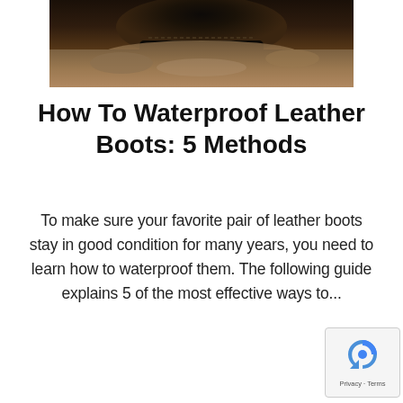[Figure (photo): Close-up photo of black leather boots covered in mud/dirt on a rocky surface]
How To Waterproof Leather Boots: 5 Methods
To make sure your favorite pair of leather boots stay in good condition for many years, you need to learn how to waterproof them. The following guide explains 5 of the most effective ways to...
[Figure (logo): reCAPTCHA badge with Privacy and Terms links]